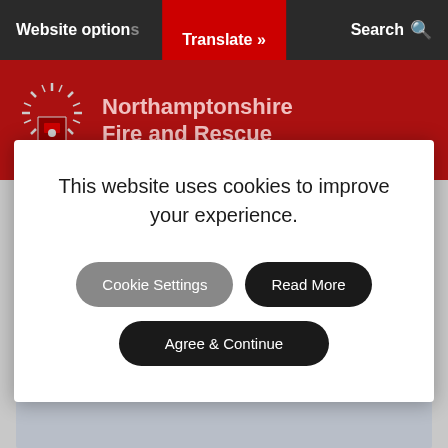Website options  Translate »  Search
[Figure (screenshot): Northamptonshire Fire and Rescue logo and red header banner with badge/crest icon]
This website uses cookies to improve your experience.
Cookie Settings
Read More
Agree & Continue
Station